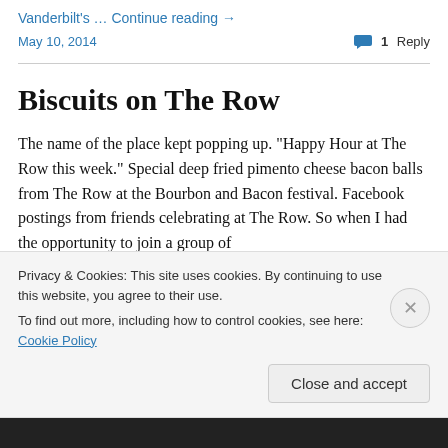Vanderbilt's … Continue reading →
May 10, 2014   💬 1 Reply
Biscuits on The Row
The name of the place kept popping up. "Happy Hour at The Row this week." Special deep fried pimento cheese bacon balls from The Row at the Bourbon and Bacon festival. Facebook postings from friends celebrating at The Row. So when I had the opportunity to join a group of
Privacy & Cookies: This site uses cookies. By continuing to use this website, you agree to their use. To find out more, including how to control cookies, see here: Cookie Policy